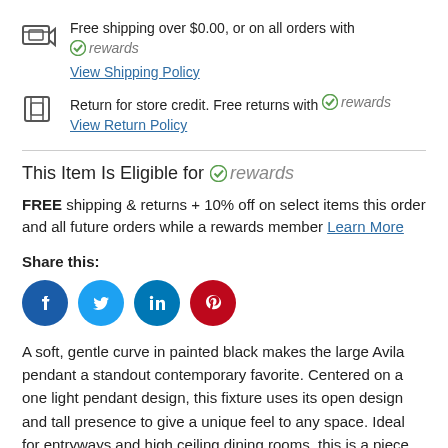Free shipping over $0.00, or on all orders with rewards
View Shipping Policy
Return for store credit. Free returns with rewards
View Return Policy
This Item Is Eligible for rewards
FREE shipping & returns + 10% off on select items this order and all future orders while a rewards member Learn More
Share this:
[Figure (infographic): Social media share icons: Facebook (blue), Twitter (light blue), LinkedIn (blue), Pinterest (red)]
A soft, gentle curve in painted black makes the large Avila pendant a standout contemporary favorite. Centered on a one light pendant design, this fixture uses its open design and tall presence to give a unique feel to any space. Ideal for entryways and high ceiling dining rooms, this is a piece that any comfort...